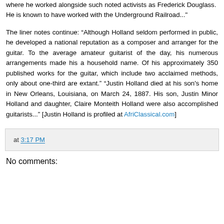where he worked alongside such noted activists as Frederick Douglass. He is known to have worked with the Underground Railroad...
The liner notes continue: “Although Holland seldom performed in public, he developed a national reputation as a composer and arranger for the guitar. To the average amateur guitarist of the day, his numerous arrangements made his a household name. Of his approximately 350 published works for the guitar, which include two acclaimed methods, only about one-third are extant.” “Justin Holland died at his son's home in New Orleans, Louisiana, on March 24, 1887. His son, Justin Minor Holland and daughter, Claire Monteith Holland were also accomplished guitarists...” [Justin Holland is profiled at AfriClassical.com]
at 3:17 PM
No comments: